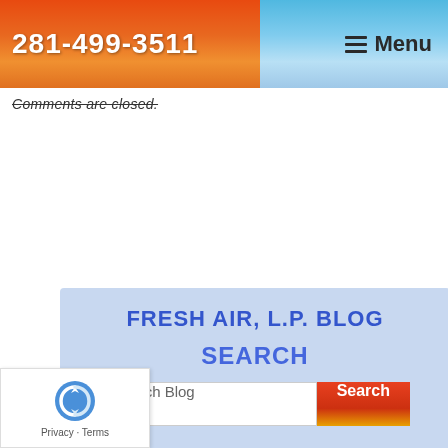281-499-3511  Menu
Comments are closed.
FRESH AIR, L.P. BLOG
SEARCH
Search Blog  Search
ARCHIVES
August 2022
July 2022